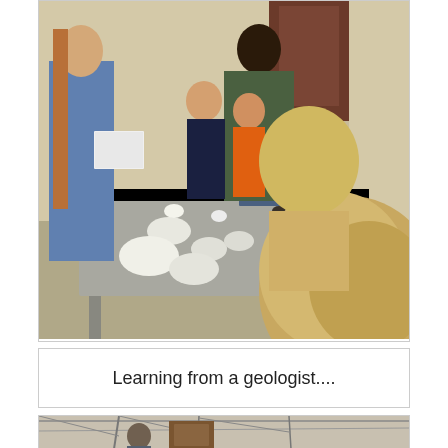[Figure (photo): A young woman in a blue sweater shows rocks/specimens to a group of children and adults at a table covered with rocks and minerals. A woman in a green/camo jacket stands behind. Children lean in to look. The setting appears to be an educational facility.]
Learning from a geologist....
[Figure (photo): Interior of a large industrial or laboratory space with high ceilings, metal framework, and equipment. A person is visible in the middle distance near wooden cabinetry or display cases.]